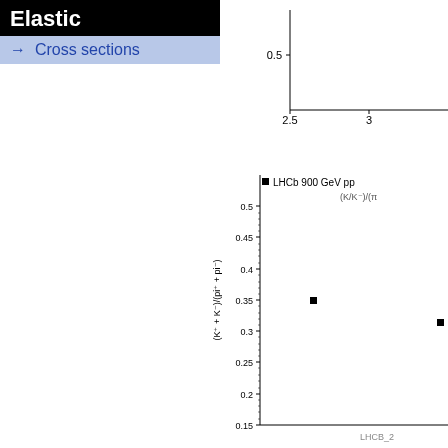Elastic
→ Cross sections
[Figure (continuous-plot): Partial view of a scatter plot, showing y-axis around 0.5 and x-axis from 2.5 to 3, top-right portion of page]
[Figure (scatter-plot): Scatter plot showing (K/K-)/(pi) ratio vs some variable. LHCb 900 GeV pp data. Two data points visible: one near x~1.5 y~0.35, another near x~3 y~0.32. Label LHCB_2 visible at bottom right.]